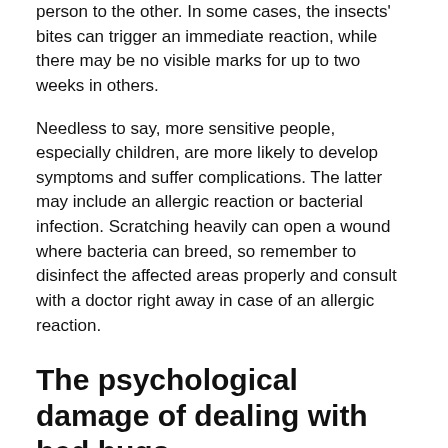person to the other. In some cases, the insects' bites can trigger an immediate reaction, while there may be no visible marks for up to two weeks in others.
Needless to say, more sensitive people, especially children, are more likely to develop symptoms and suffer complications. The latter may include an allergic reaction or bacterial infection. Scratching heavily can open a wound where bacteria can breed, so remember to disinfect the affected areas properly and consult with a doctor right away in case of an allergic reaction.
The psychological damage of dealing with bed bugs
It's far more likely for someone to admit they have ants or roaches, or even rats, rather than bed bugs. This is understandable because these nasty little buggers also come with a sort of social stigma.